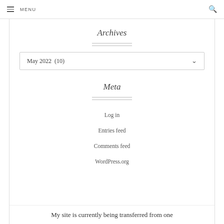MENU
Archives
May 2022  (10)
Meta
Log in
Entries feed
Comments feed
WordPress.org
My site is currently being transferred from one